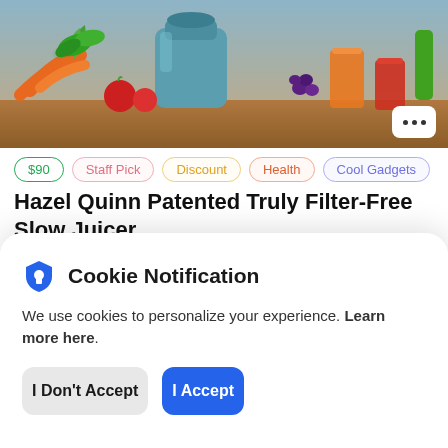[Figure (photo): Kitchen juicer scene with carrots, tomatoes, herbs, orange juicer appliance, and glasses of fresh juice on a wooden counter]
$90
Staff Pick
Discount
Health
Cool Gadgets
Hazel Quinn Patented Truly Filter-Free Slow Juicer
3 weeks ago by Genevieve
Cookie Notification
We use cookies to personalize your experience. Learn more here.
I Don't Accept
I Accept